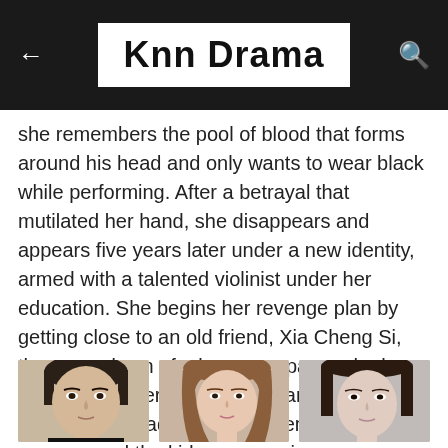Knn Drama
she remembers the pool of blood that forms around his head and only wants to wear black while performing. After a betrayal that mutilated her hand, she disappears and appears five years later under a new identity, armed with a talented violinist under her education. She begins her revenge plan by getting close to an old friend, Xia Cheng Si, the second son of a large company, who has talent in numbers and stock market. It seems that his family adopted her when she was younger and the kids were envious
Actors and their characters
[Figure (photo): Three portrait photos of actors side by side]